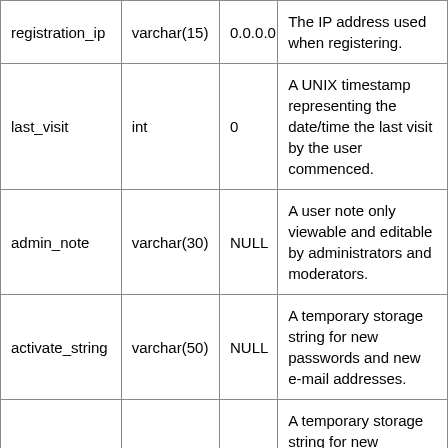| registration_ip | varchar(15) | 0.0.0.0 | The IP address used when registering. |
| last_visit | int | 0 | A UNIX timestamp representing the date/time the last visit by the user commenced. |
| admin_note | varchar(30) | NULL | A user note only viewable and editable by administrators and moderators. |
| activate_string | varchar(50) | NULL | A temporary storage string for new passwords and new e-mail addresses. |
| activate_key | varchar(8) | NULL | A temporary storage string for new password and new e-mail address activation keys. |